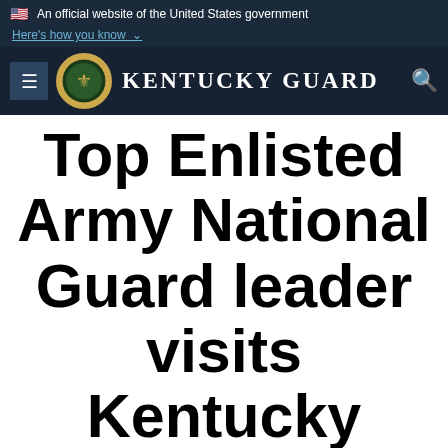An official website of the United States government
Here's how you know
KENTUCKY GUARD
Top Enlisted Army National Guard leader visits Kentucky troops in Afghanistan